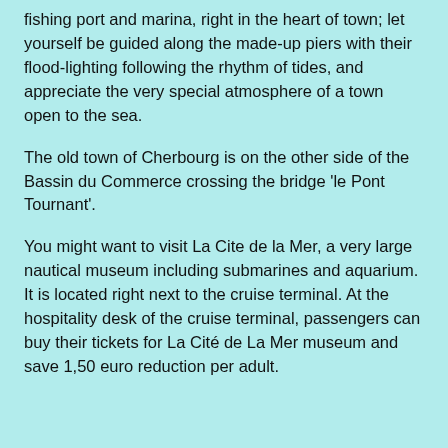fishing port and marina, right in the heart of town; let yourself be guided along the made-up piers with their flood-lighting following the rhythm of tides, and appreciate the very special atmosphere of a town open to the sea.
The old town of Cherbourg is on the other side of the Bassin du Commerce crossing the bridge 'le Pont Tournant'.
You might want to visit La Cite de la Mer, a very large nautical museum including submarines and aquarium. It is located right next to the cruise terminal. At the hospitality desk of the cruise terminal, passengers can buy their tickets for La Cité de La Mer museum and save 1,50 euro reduction per adult.